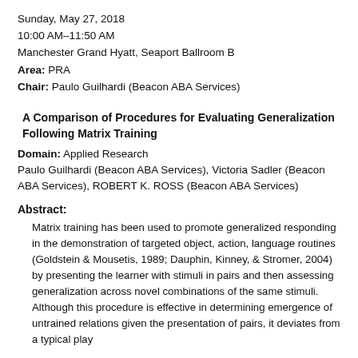Sunday, May 27, 2018
10:00 AM–11:50 AM
Manchester Grand Hyatt, Seaport Ballroom B
Area: PRA
Chair: Paulo Guilhardi (Beacon ABA Services)
A Comparison of Procedures for Evaluating Generalization Following Matrix Training
Domain: Applied Research
Paulo Guilhardi (Beacon ABA Services), Victoria Sadler (Beacon ABA Services), ROBERT K. ROSS (Beacon ABA Services)
Abstract:
Matrix training has been used to promote generalized responding in the demonstration of targeted object, action, language routines (Goldstein & Mousetis, 1989; Dauphin, Kinney, & Stromer, 2004) by presenting the learner with stimuli in pairs and then assessing generalization across novel combinations of the same stimuli. Although this procedure is effective in determining emergence of untrained relations given the presentation of pairs, it deviates from a typical play